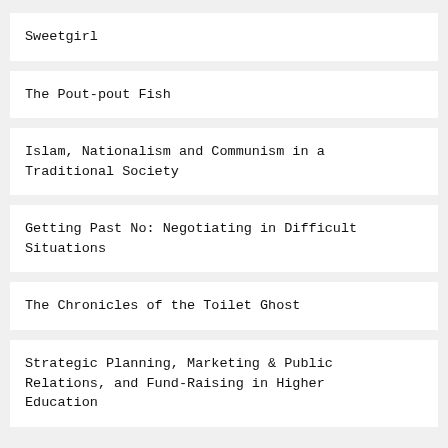Sweetgirl
The Pout-pout Fish
Islam, Nationalism and Communism in a Traditional Society
Getting Past No: Negotiating in Difficult Situations
The Chronicles of the Toilet Ghost
Strategic Planning, Marketing & Public Relations, and Fund-Raising in Higher Education